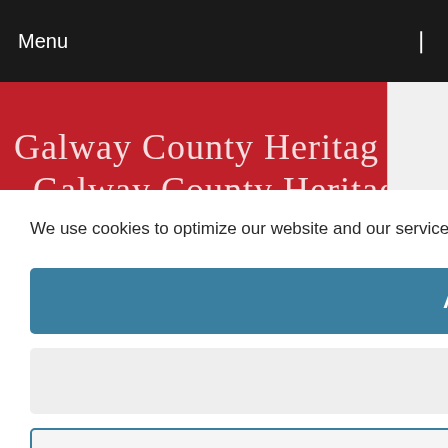Menu
Galway County Heritage
We use cookies to optimize our website and our service.  Cookie Policy
Accept all
Dismiss
Preferences
Caner